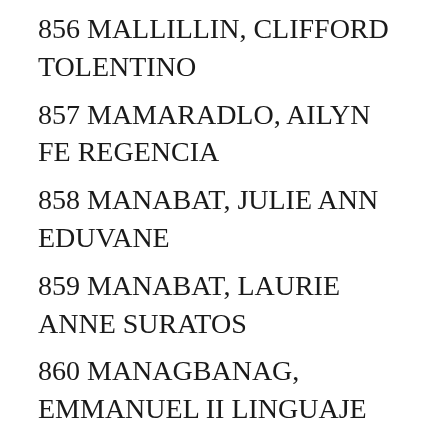856 MALLILLIN, CLIFFORD TOLENTINO
857 MAMARADLO, AILYN FE REGENCIA
858 MANABAT, JULIE ANN EDUVANE
859 MANABAT, LAURIE ANNE SURATOS
860 MANAGBANAG, EMMANUEL II LINGUAJE
861 MANALANG, RYAN PAULO SANTOS
862 MANALES, LAURICE JOANNE ALVARADO
863 MANALES, STEWART ERMAC
864 MANALILI, HERACLES JR ABAJA